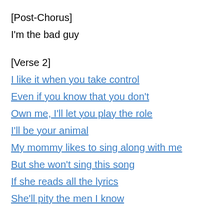[Post-Chorus]
I'm the bad guy
[Verse 2]
I like it when you take control
Even if you know that you don't
Own me, I'll let you play the role
I'll be your animal
My mommy likes to sing along with me
But she won't sing this song
If she reads all the lyrics
She'll pity the men I know